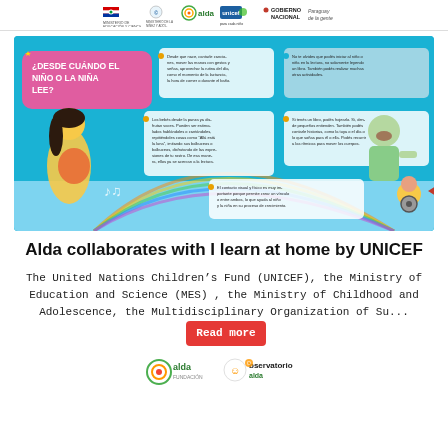Government logos: Ministry of Education, Ministry of Childhood and Adolescence, ALDA, UNICEF, GOBIERNO NACIONAL, Paraguay de la gente
[Figure (infographic): Infographic titled '¿Desde cuándo el niño o la niña lee?' (From when does the child read?) showing a pregnant woman and a father with a child, with speech bubbles describing reading development stages. Logos of MES, Childhood Ministry, ALDA, UNICEF, Gobierno Nacional, Paraguay de la gente at top.]
Alda collaborates with I learn at home by UNICEF
The United Nations Children's Fund (UNICEF), the Ministry of Education and Science (MES) , the Ministry of Childhood and Adolescence, the Multidisciplinary Organization of Su...
[Figure (logo): ALDA Fundación logo at bottom left]
[Figure (logo): Observatorio ALDA logo at bottom right]